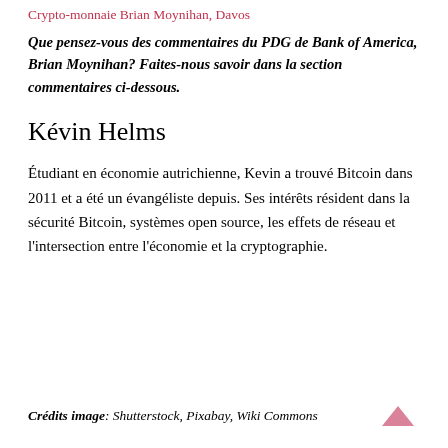Crypto-monnaie Brian Moynihan, Davos
Que pensez-vous des commentaires du PDG de Bank of America, Brian Moynihan? Faites-nous savoir dans la section commentaires ci-dessous.
Kévin Helms
Étudiant en économie autrichienne, Kevin a trouvé Bitcoin dans 2011 et a été un évangéliste depuis. Ses intérêts résident dans la sécurité Bitcoin, systèmes open source, les effets de réseau et l'intersection entre l'économie et la cryptographie.
Crédits image: Shutterstock, Pixabay, Wiki Commons